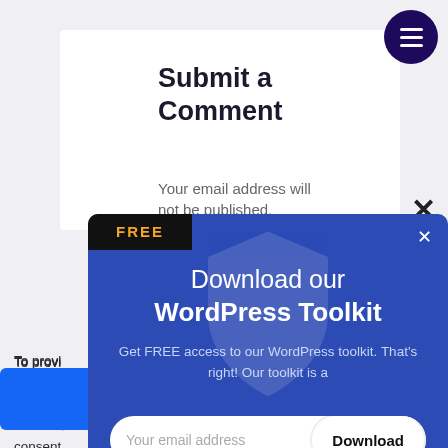Submit a Comment
Your email address will not be published.
[Figure (screenshot): Hamburger menu button — dark navy circle with three white horizontal lines]
To provide... cookies to store and... these technolo... ng behavio... rawing consent,...ons.
[Figure (infographic): Modal popup with blue background. FREE badge at top left. Title: Download our WordPress Toolkit. Subtitle: Get FREE access to our WordPress toolkit. That's right! Our toolkit is a... Email input field with Download button. No thanks, I don't want to learn link at bottom.]
No thanks, I don't want to learn